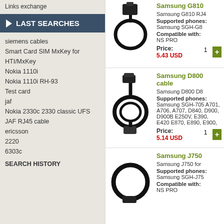Links exchange
LAST SEARCHES
siemens cables
Smart Card SIM MxKey for
HTI/MxKey
Nokia 1110i
Nokia 1110i RH-93
Test card
jaf
Nokia 2330c 2330 classic UFS
JAF RJ45 cable
ericsson
2220
6303c
SEARCH HISTORY
[Figure (photo): Samsung G810 RJ45 cable product image - a small black adapter/connector with a cable loop]
Samsung G810
Samsung G810 RJ4
Supported phones:
Samsung SGH-G8
Compatible with:
NS PRO
Price: 5.43 USD
[Figure (photo): Samsung D800 cable product image - a coiled black USB/data cable]
Samsung D800 cable
Samsung D800 D8
Supported phones:
Samsung SGH-705 A701, A706, A707, D840, D900, D900B E250V, E390, E420 E870, E890, E900,
Price: 5.14 USD
[Figure (photo): Samsung J750 cable product image - a circular coiled black cable]
Samsung J750
Samsung J750 for
Supported phones:
Samsung SGH-J75
Compatible with:
NS PRO